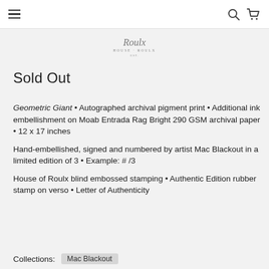≡  🔍 🛒
[Figure (logo): House of Roulx script logo with decorative text beneath]
Sold Out
Geometric Giant • Autographed archival pigment print • Additional ink embellishment on Moab Entrada Rag Bright 290 GSM archival paper • 12 x 17 inches
Hand-embellished, signed and numbered by artist Mac Blackout in a limited edition of 3 • Example: # /3
House of Roulx blind embossed stamping • Authentic Edition rubber stamp on verso • Letter of Authenticity
Collections:  Mac Blackout